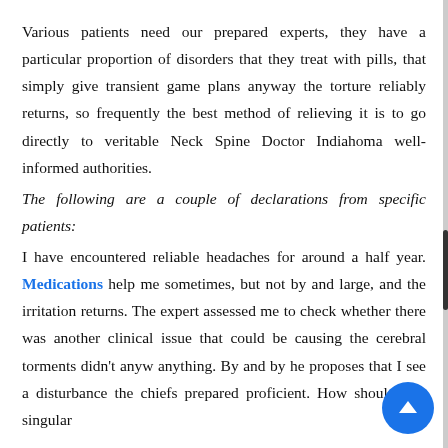Various patients need our prepared experts, they have a particular proportion of disorders that they treat with pills, that simply give transient game plans anyway the torture reliably returns, so frequently the best method of relieving it is to go directly to veritable Neck Spine Doctor Indiahoma well-informed authorities.
The following are a couple of declarations from specific patients:
I have encountered reliable headaches for around a half year. Medications help me sometimes, but not by and large, and the irritation returns. The expert assessed me to check whether there was another clinical issue that could be causing the cerebral torments didn't anyw anything. By and by he proposes that I see a disturbance the chiefs prepared proficient. How should that singular